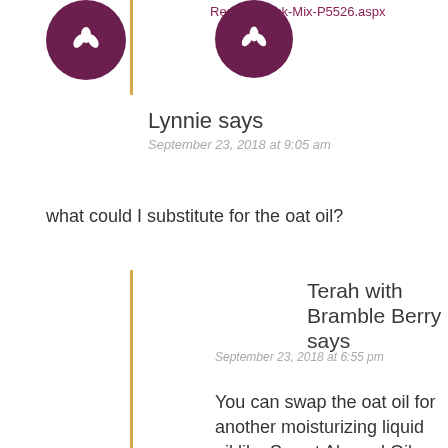Recipe-Quick-Mix-P5526.aspx
Lynnie says
September 23, 2018 at 9:05 am
what could I substitute for the oat oil?
Terah with Bramble Berry says
September 23, 2018 at 6:55 pm
You can swap the oat oil for another moisturizing liquid oil like Sweet Almond Oil. More info from our Oil You will want to